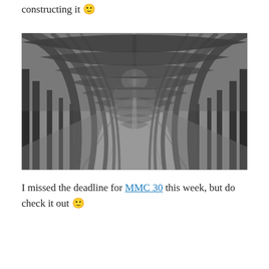constructing it 🙂
[Figure (photo): Black and white photograph of a long tree-lined pathway forming a natural tunnel of arching bare branches, with a road stretching into the distance toward a vanishing point of light.]
I missed the deadline for MMC 30 this week, but do check it out 🙂